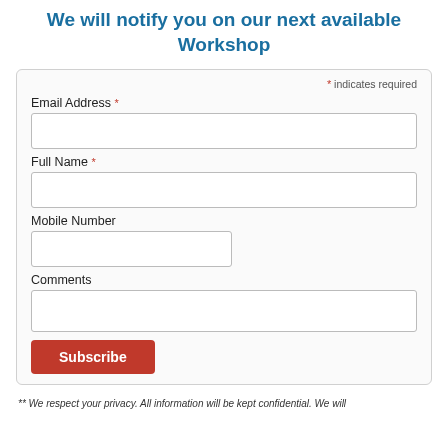We will notify you on our next available Workshop
* indicates required
Email Address *
Full Name *
Mobile Number
Comments
Subscribe
** We respect your privacy. All information will be kept confidential. We will